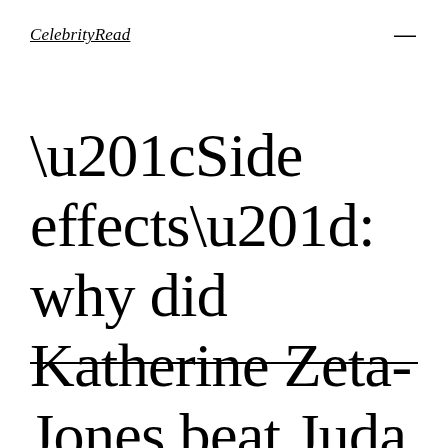CelebrityRead
“Side effects”: why did Katherine Zeta-Jones beat Juda Lou